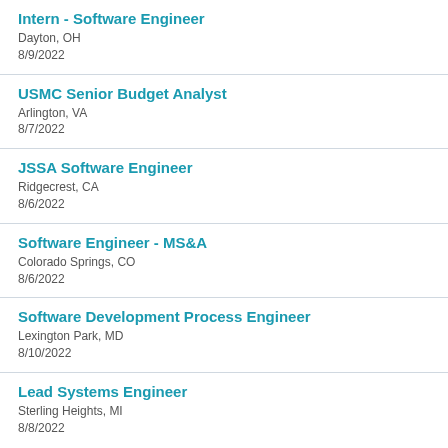Intern - Software Engineer
Dayton, OH
8/9/2022
USMC Senior Budget Analyst
Arlington, VA
8/7/2022
JSSA Software Engineer
Ridgecrest, CA
8/6/2022
Software Engineer - MS&A
Colorado Springs, CO
8/6/2022
Software Development Process Engineer
Lexington Park, MD
8/10/2022
Lead Systems Engineer
Sterling Heights, MI
8/8/2022